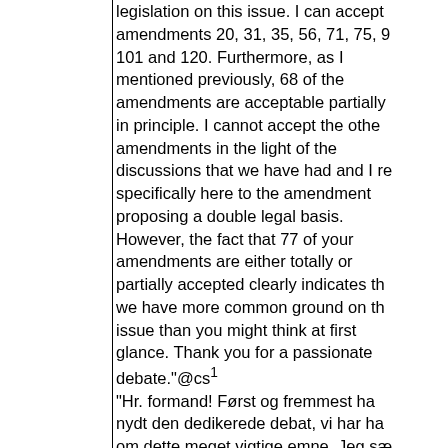legislation on this issue. I can accept amendments 20, 31, 35, 56, 71, 75, 9... 101 and 120. Furthermore, as I mentioned previously, 68 of the amendments are acceptable partially in principle. I cannot accept the other amendments in the light of the discussions that we have had and I re... specifically here to the amendment proposing a double legal basis. However, the fact that 77 of your amendments are either totally or partially accepted clearly indicates th... we have more common ground on th... issue than you might think at first glance. Thank you for a passionate debate."@cs¹ "Hr. formand! Først og fremmest ha... nydt den dedikerede debat, vi har ha... om dette meget vigtige emne. Jeg sæ... også stor pris på Deres støtte til esse... af disse idéer. Med hensyn til nogle ... vanskelige punkter håber jeg, at jeg ... formået at forklare, at vi i et vist om... kan give plads til mange af Deres ide...